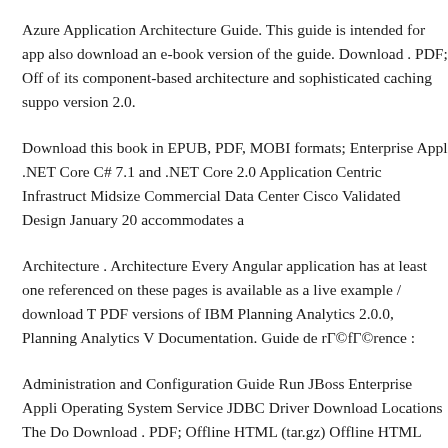Azure Application Architecture Guide. This guide is intended for app also download an e-book version of the guide. Download . PDF; Off of its component-based architecture and sophisticated caching suppo version 2.0.
Download this book in EPUB, PDF, MOBI formats; Enterprise Appl .NET Core C# 7.1 and .NET Core 2.0 Application Centric Infrastruct Midsize Commercial Data Center Cisco Validated Design January 20 accommodates a
Architecture . Architecture Every Angular application has at least one referenced on these pages is available as a live example / download T PDF versions of IBM Planning Analytics 2.0.0, Planning Analytics V Documentation. Guide de rΓ©fΓ©rence :
Administration and Configuration Guide Run JBoss Enterprise Appli Operating System Service JDBC Driver Download Locations The Do Download . PDF; Offline HTML (tar.gz) Offline HTML Models are